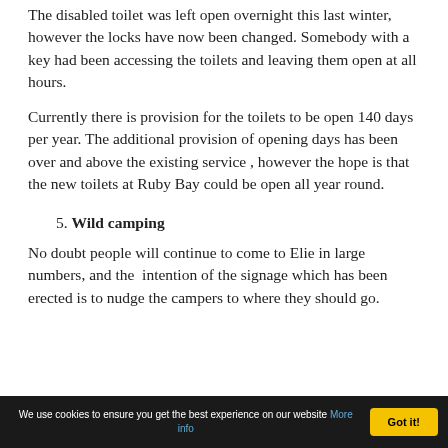The disabled toilet was left open overnight this last winter, however the locks have now been changed. Somebody with a key had been accessing the toilets and leaving them open at all hours.
Currently there is provision for the toilets to be open 140 days per year. The additional provision of opening days has been over and above the existing service , however the hope is that the new toilets at Ruby Bay could be open all year round.
5. Wild camping
No doubt people will continue to come to Elie in large numbers, and the  intention of the signage which has been erected is to nudge the campers to where they should go.
We use cookies to ensure you get the best experience on our website More info